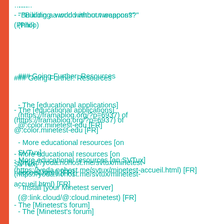- "Building a world without weapons?" (Philo)
### Going Further: Resources
- The [educational applications](https://framablog.org/?p=6937) of @:color.minetest-edu [FR]
- More educational resources [on SVTux](https://yoda.nohost.me/svtux/minetest-accueil.html) [FR]
- Install [your Minetest server](@:link.cloud/@:cloud.minetest) [FR]
- The [Minetest official website](http://www.minetest.net)
- The [Minetest's wiki](http://wiki.minetest.net/Main_Page/en)
- The [Minetest's forum]